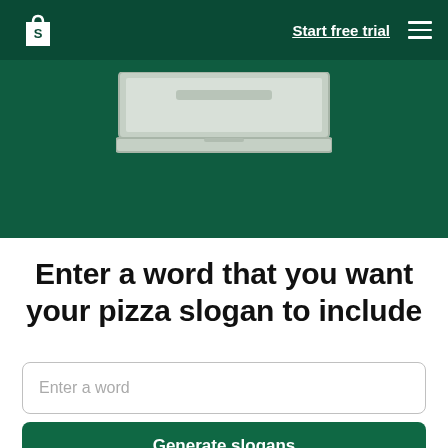[Figure (screenshot): Shopify navigation bar with logo, 'Start free trial' link, and hamburger menu on dark green background]
[Figure (illustration): Partial laptop illustration on dark green hero background]
Enter a word that you want your pizza slogan to include
Enter a word
Generate slogans